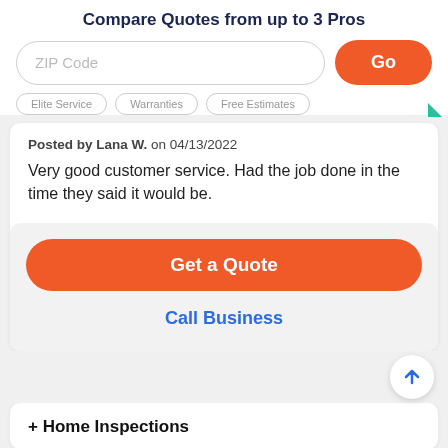Compare Quotes from up to 3 Pros
Posted by Lana W. on 04/13/2022
Very good customer service. Had the job done in the time they said it would be.
Get a Quote
Call Business
+ Home Inspections